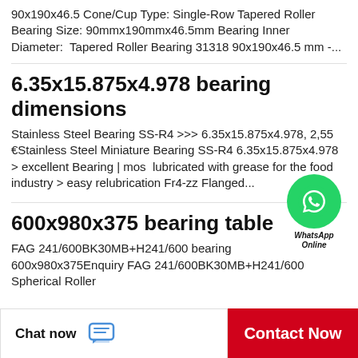90x190x46.5 Cone/Cup Type: Single-Row Tapered Roller Bearing Size: 90mmx190mmx46.5mm Bearing Inner Diameter: Tapered Roller Bearing 31318 90x190x46.5 mm -...
6.35x15.875x4.978 bearing dimensions
Stainless Steel Bearing SS-R4 >>> 6.35x15.875x4.978, 2,55 €Stainless Steel Miniature Bearing SS-R4 6.35x15.875x4.978 > excellent Bearing | most lubricated with grease for the food industry > easy relubrication Fr4-zz Flanged...
[Figure (logo): WhatsApp contact button: green circle with phone handset icon, labeled WhatsApp Online in italic]
600x980x375 bearing table
FAG 241/600BK30MB+H241/600 bearing 600x980x375Enquiry FAG 241/600BK30MB+H241/600 Spherical Roller
Chat now   Contact Now